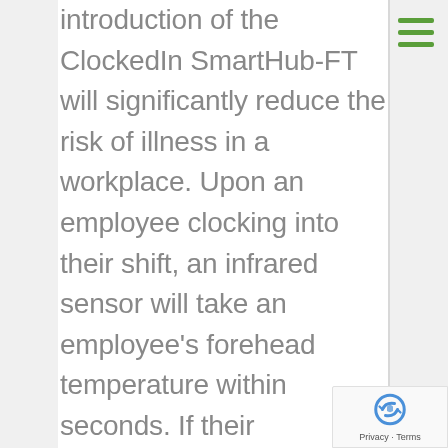introduction of the ClockedIn SmartHub-FT will significantly reduce the risk of illness in a workplace. Upon an employee clocking into their shift, an infrared sensor will take an employee's forehead temperature within seconds. If their temperature is abnormal or above the set parameters